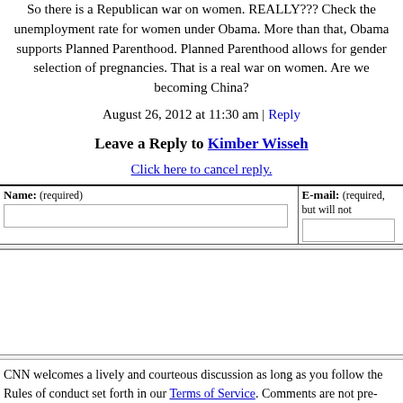So there is a Republican war on women. REALLY??? Check the unemployment rate for women under Obama. More than that, Obama supports Planned Parenthood. Planned Parenthood allows for gender selection of pregnancies. That is a real war on women. Are we becoming China?
August 26, 2012 at 11:30 am | Reply
Leave a Reply to Kimber Wisseh
Click here to cancel reply.
| Name: (required) | E-mail: (required, but will not be published) |
| --- | --- |
|  |  |
CNN welcomes a lively and courteous discussion as long as you follow the Rules of Conduct set forth in our Terms of Service. Comments are not pre-screened before they post. You agree that anything you post may be used, along with your name and profile picture, in accordance with our Privacy Policy and the license you have granted pursuant to our Terms of Service.